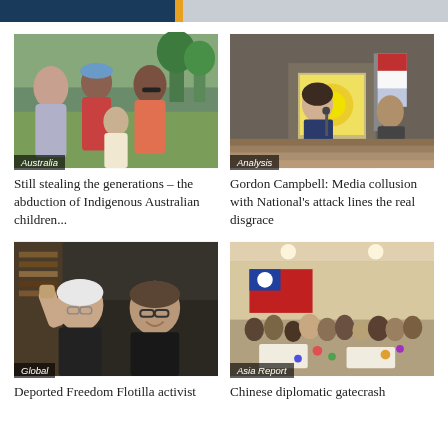[Figure (photo): Group of Indigenous Australian women and a child outdoors in a park setting. Tag: Australia]
Still stealing the generations – the abduction of Indigenous Australian children...
[Figure (photo): Woman speaking at a podium at a press conference. Tag: Analysis]
Gordon Campbell: Media collusion with National's attack lines the real disgrace
[Figure (photo): Two older men smiling and laughing, one raising a fist. Tag: Global]
Deported Freedom Flotilla activist
[Figure (photo): Crowd gathered at an event with a Taiwanese flag in the background. Tag: Asia Report]
Chinese diplomatic gatecrash